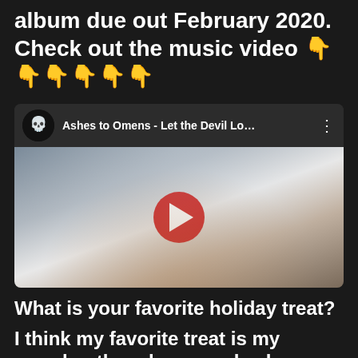album due out February 2020. Check out the music video 👇👇👇👇👇👇
[Figure (screenshot): YouTube video embed showing 'Ashes to Omens - Let the Devil Lo...' with a blurred figure of a person with arms outstretched, and a red YouTube play button in the center]
What is your favorite holiday treat?
I think my favorite treat is my grandmothers homemade cherry pie. -